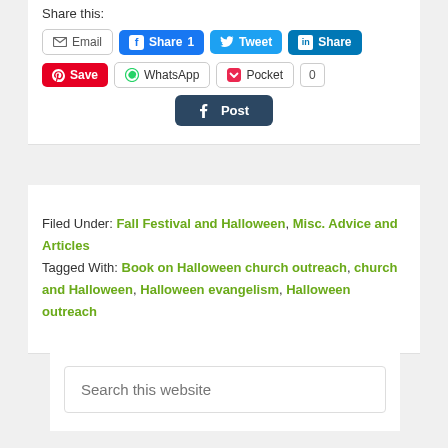Share this:
Email | Share 1 | Tweet | Share | Save | WhatsApp | Pocket 0 | Post
Filed Under: Fall Festival and Halloween, Misc. Advice and Articles
Tagged With: Book on Halloween church outreach, church and Halloween, Halloween evangelism, Halloween outreach
Search this website